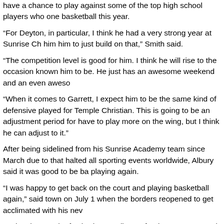have a chance to play against some of the top high school players who one basketball this year.
“For Deyton, in particular, I think he had a very strong year at Sunrise Ch him him to just build on that,” Smith said.
“The competition level is good for him. I think he will rise to the occasion known him to be. He just has an awesome weekend and an even aweso
“When it comes to Garrett, I expect him to be the same kind of defensive played for Temple Christian. This is going to be an adjustment period for have to play more on the wing, but I think he can adjust to it.”
After being sidelined from his Sunrise Academy team since March due to that halted all sporting events worldwide, Albury said it was good to be ba playing again.
“I was happy to get back on the court and playing basketball again,” said town on July 1 when the borders reopened to get acclimated with his nev
During the month of July, the Carolina Defenders are expected to particip and at least 30-40 games. Hopefully, they will be successful where they c tournament in August to wrap up the tour.
“A lot of the tournament directors are taking the necessary preventive me temperatures at the door and you must wear your mask to get in,” Smith